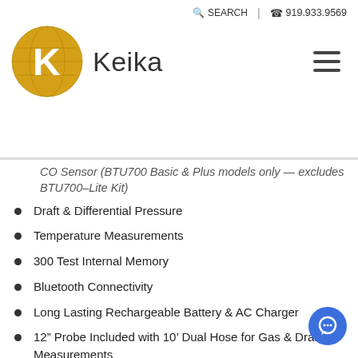SEARCH | 919.933.9569 | Keika
CO Sensor (BTU700 Basic & Plus models only — excludes BTU700–Lite Kit)
Draft & Differential Pressure
Temperature Measurements
300 Test Internal Memory
Bluetooth Connectivity
Long Lasting Rechargeable Battery & AC Charger
12" Probe Included with 10' Dual Hose for Gas & Draft Measurements
External Water Trap for Easy Condensate Removal
Lightweight Vinyl Carrying Case
Operating Manual
Lightweight Vinyl Carrying Case